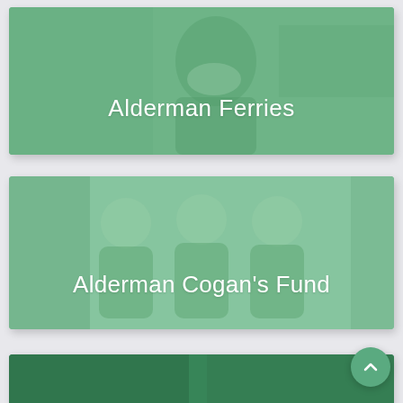[Figure (photo): Card with green-tinted photo of a person in a lab coat or medical setting, with text overlay 'Alderman Ferries']
Alderman Ferries
[Figure (photo): Card with green-tinted photo of three children in green school uniforms smiling, with text overlay 'Alderman Cogan's Fund']
Alderman Cogan's Fund
[Figure (photo): Partial third card visible at bottom with darker green tinted photo, partially cut off]